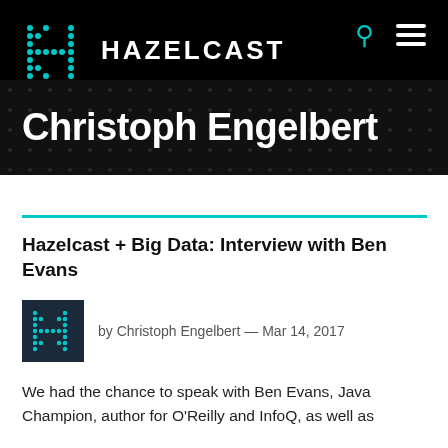HAZELCAST
Christoph Engelbert
Hazelcast + Big Data: Interview with Ben Evans
by Christoph Engelbert — Mar 14, 2017
We had the chance to speak with Ben Evans, Java Champion, author for O'Reilly and InfoQ, as well as